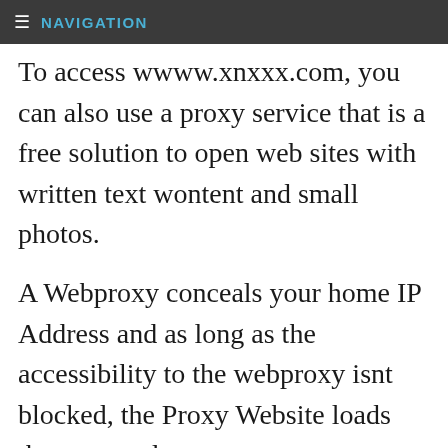≡ NAVIGATION
To access wwww.xnxxx.com, you can also use a proxy service that is a free solution to open web sites with written text wontent and small photos.
A Webproxy conceals your home IP Address and as long as the accessibility to the webproxy isnt blocked, the Proxy Website loads the censored wwww.xnxxx.com web site for you personally and shows it to your browser on its machine. Thus you are able to get